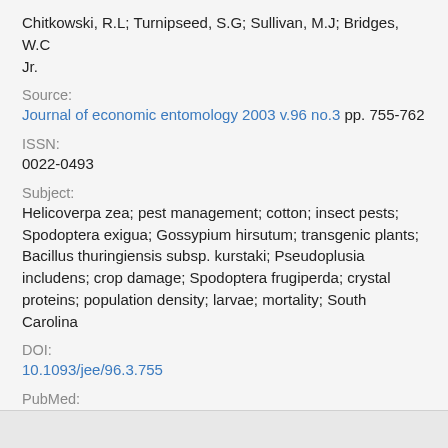Chitkowski, R.L; Turnipseed, S.G; Sullivan, M.J; Bridges, W.C Jr.
Source:
Journal of economic entomology 2003 v.96 no.3 pp. 755-762
ISSN:
0022-0493
Subject:
Helicoverpa zea; pest management; cotton; insect pests; Spodoptera exigua; Gossypium hirsutum; transgenic plants; Bacillus thuringiensis subsp. kurstaki; Pseudoplusia includens; crop damage; Spodoptera frugiperda; crystal proteins; population density; larvae; mortality; South Carolina
DOI:
10.1093/jee/96.3.755
PubMed:
12852613